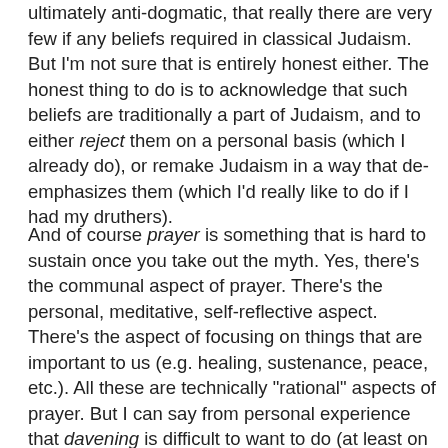ultimately anti-dogmatic, that really there are very few if any beliefs required in classical Judaism. But I'm not sure that is entirely honest either. The honest thing to do is to acknowledge that such beliefs are traditionally a part of Judaism, and to either reject them on a personal basis (which I already do), or remake Judaism in a way that de-emphasizes them (which I'd really like to do if I had my druthers).
And of course prayer is something that is hard to sustain once you take out the myth. Yes, there's the communal aspect of prayer. There's the personal, meditative, self-reflective aspect. There's the aspect of focusing on things that are important to us (e.g. healing, sustenance, peace, etc.). All these are technically "rational" aspects of prayer. But I can say from personal experience that davening is difficult to want to do (at least on a three-times-a-day basis) without the idea that God "wants" us to, or that God is "listening," or that God will "answer" us in our time of need if enough of us pray long enough and hard enough, and say the right combination of words at the right times. Take the "God" idea out of the equation and prayer loses 90% of its